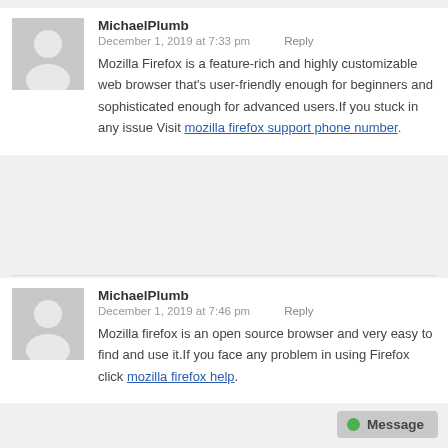MichaelPlumb
December 1, 2019 at 7:33 pm   Reply
Mozilla Firefox is a feature-rich and highly customizable web browser that’s user-friendly enough for beginners and sophisticated enough for advanced users.If you stuck in any issue Visit mozilla firefox support phone number.
MichaelPlumb
December 1, 2019 at 7:46 pm   Reply
Mozilla firefox is an open source browser and very easy to find and use it.If you face any problem in using Firefox click mozilla firefox help.